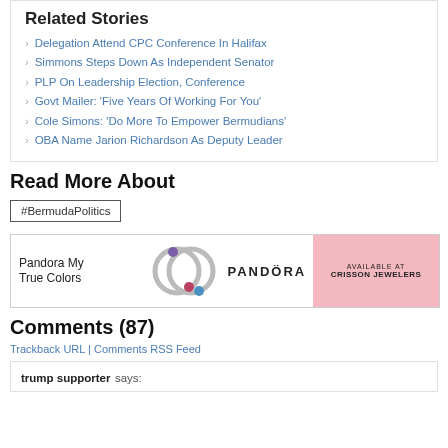Related Stories
Delegation Attend CPC Conference In Halifax
Simmons Steps Down As Independent Senator
PLP On Leadership Election, Conference
Govt Mailer: ‘Five Years Of Working For You’
Cole Simons: ‘Do More To Empower Bermudians’
OBA Name Jarion Richardson As Deputy Leader
Read More About
#BermudaPolitics
[Figure (other): Pandora My True Colors advertisement showing jewelry rings, PANDORA logo, Available at Crisson Jewelers on pink background]
Comments (87)
Trackback URL | Comments RSS Feed
trump supporter says: